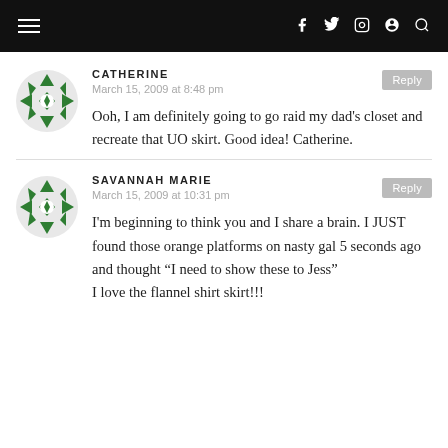Navigation bar with hamburger menu and social icons
CATHERINE
March 15, 2009 at 8:48 pm
Ooh, I am definitely going to go raid my dad's closet and recreate that UO skirt. Good idea! Catherine.
SAVANNAH MARIE
March 15, 2009 at 10:31 pm
I'm beginning to think you and I share a brain. I JUST found those orange platforms on nasty gal 5 seconds ago and thought “I need to show these to Jess” I love the flannel shirt skirt!!!